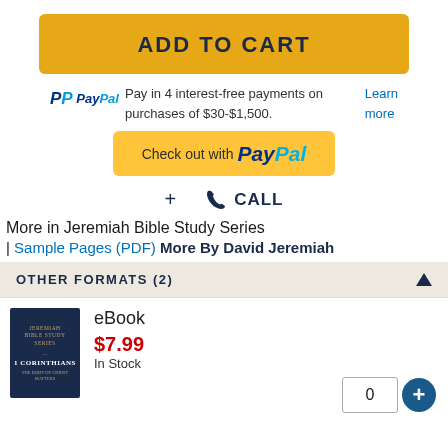ADD TO CART
PayPal Pay in 4 interest-free payments on purchases of $30-$1,500. Learn more
[Figure (other): Check out with PayPal button]
+ CALL
More in Jeremiah Bible Study Series
| Sample Pages (PDF) More By David Jeremiah
OTHER FORMATS (2)
eBook
$7.99
In Stock